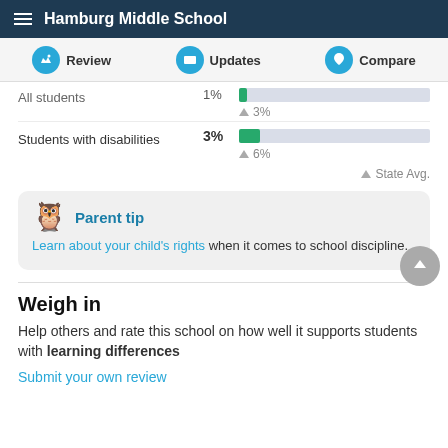Hamburg Middle School
[Figure (infographic): Navigation bar with Review, Updates, and Compare icons]
[Figure (bar-chart): Students with disabilities]
Parent tip
Learn about your child's rights when it comes to school discipline.
Weigh in
Help others and rate this school on how well it supports students with learning differences
Submit your own review